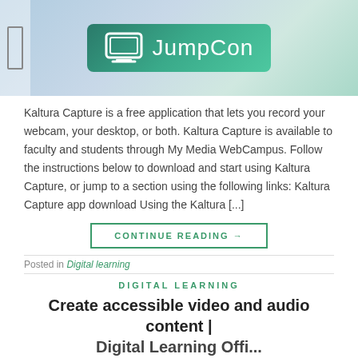[Figure (logo): JumpCon logo on a teal/blue gradient banner background with a monitor icon and the text JumpCon]
Kaltura Capture is a free application that lets you record your webcam, your desktop, or both. Kaltura Capture is available to faculty and students through My Media WebCampus. Follow the instructions below to download and start using Kaltura Capture, or jump to a section using the following links: Kaltura Capture app download Using the Kaltura [...]
CONTINUE READING →
Posted in Digital learning
DIGITAL LEARNING
Create accessible video and audio content | Digital Learning Offi...